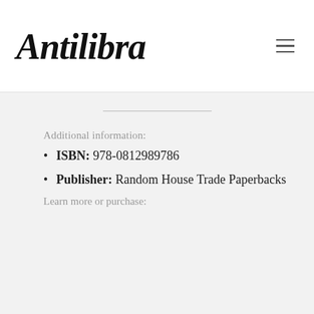[Figure (logo): Antilibraries handwritten script logo in black cursive]
Additional information:
ISBN: 978-0812989786
Publisher: Random House Trade Paperbacks
Learn more or purchase: